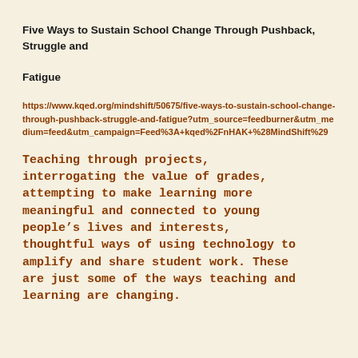Five Ways to Sustain School Change Through Pushback, Struggle and Fatigue
https://www.kqed.org/mindshift/50675/five-ways-to-sustain-school-change-through-pushback-struggle-and-fatigue?utm_source=feedburner&utm_medium=feed&utm_campaign=Feed%3A+kqed%2FnHAK+%28MindShift%29
Teaching through projects, interrogating the value of grades, attempting to make learning more meaningful and connected to young people’s lives and interests, thoughtful ways of using technology to amplify and share student work. These are just some of the ways teaching and learning are changing.